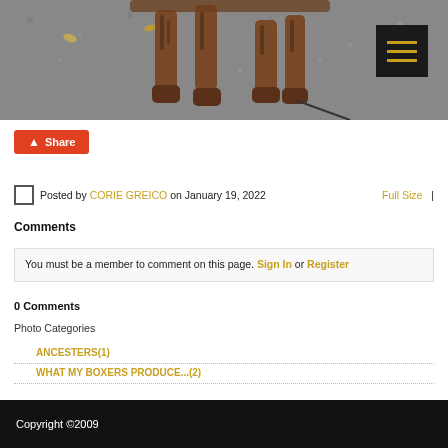[Figure (photo): A brindle dog (boxer) walking on pavement, showing legs and leash. A dark hamburger menu icon with gold lines is overlaid in the top-right corner.]
Share
Posted by CORIE GREICO on January 19, 2022   Full Size |
Comments
You must be a member to comment on this page. Sign In or Register
0 Comments
Photo Categories
ANCESTERS(1)
WHAT MY BOXERS PRODUCE...(2)
Copyright ©2009